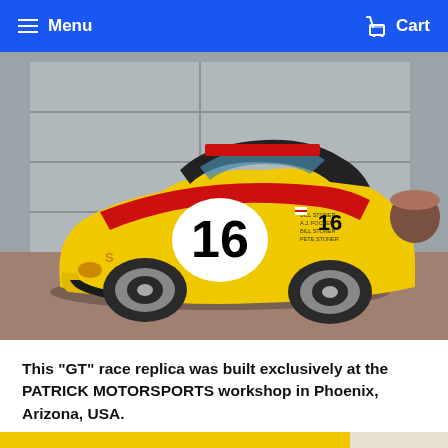Menu  Cart
[Figure (photo): Yellow Porsche 914 GT race replica with red stripe and number 16 on the door, parked in front of a garage. Built by Patrick Motorsports in Phoenix, Arizona, USA.]
This "GT" race replica was built exclusively at the PATRICK MOTORSPORTS workshop in Phoenix, Arizona, USA.
[Figure (photo): Partial view of another yellow race car, partially visible at the bottom of the page.]